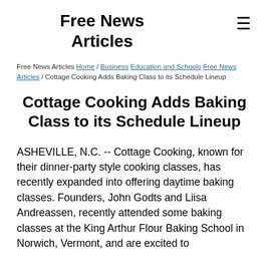Free News Articles
Free News Articles Home / Business Education and Schools Free News Articles / Cottage Cooking Adds Baking Class to its Schedule Lineup
Cottage Cooking Adds Baking Class to its Schedule Lineup
ASHEVILLE, N.C. -- Cottage Cooking, known for their dinner-party style cooking classes, has recently expanded into offering daytime baking classes. Founders, John Godts and Liisa Andreassen, recently attended some baking classes at the King Arthur Flour Baking School in Norwich, Vermont, and are excited to